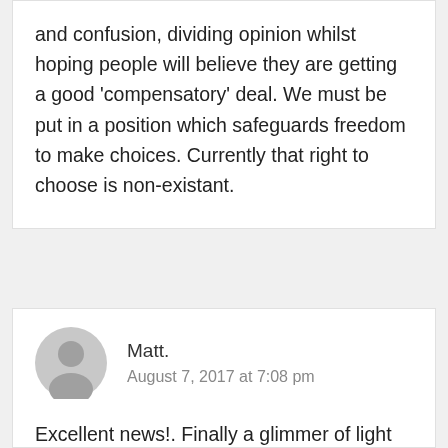and confusion, dividing opinion whilst hoping people will believe they are getting a good 'compensatory' deal. We must be put in a position which safeguards freedom to make choices. Currently that right to choose is non-existant.
Matt.
August 7, 2017 at 7:08 pm
Excellent news!. Finally a glimmer of light now for the poor sods stuck